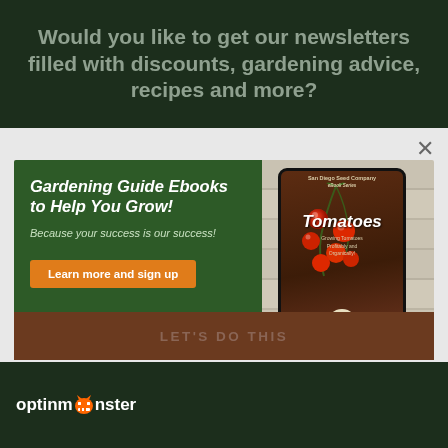Would you like to get our newsletters filled with discounts, gardening advice, recipes and more?
[Figure (screenshot): Popup modal with gardening ebook advertisement. Green left panel with 'Gardening Guide Ebooks to Help You Grow!' heading, subtitle 'Because your success is our success!', orange button 'Learn more and sign up'. Right side shows tablet displaying Tomatoes ebook cover by San Diego Seed Company. Close X button top right.]
LET'S DO THIS
[Figure (logo): OptinMonster logo with monster icon between 'optinm' and 'nster' text in white on dark green background]